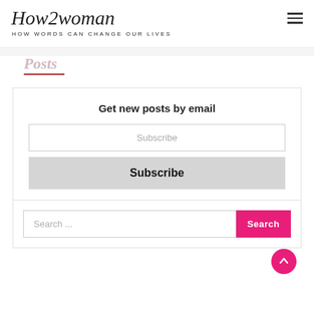How2woman — HOW WORDS CAN CHANGE OUR LIVES
Get new posts by email
Subscribe
Subscribe
Search ...
Search